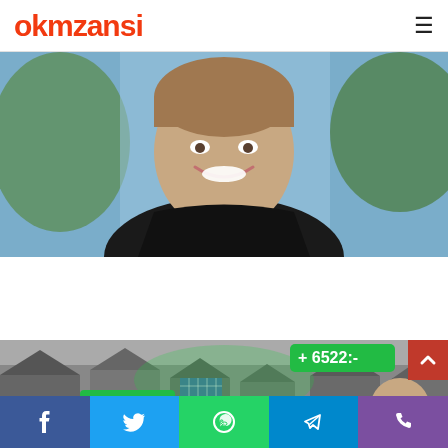okmzansi
[Figure (photo): Close-up photo of Ellen DeGeneres smiling, wearing black, with colorful studio background]
[Photos] At 64, Ellen DeGeneres lives so luxuriously
Sponsored | InsiderQueen
[Figure (photo): Black and white aerial photo of suburban houses with solar panels and green price tags showing '+ 6522:-' and '3122:-']
Facebook | Twitter | WhatsApp | Telegram | Phone